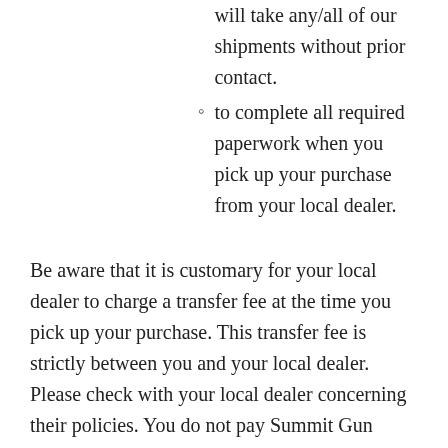will take any/all of our shipments without prior contact.
to complete all required paperwork when you pick up your purchase from your local dealer.
Be aware that it is customary for your local dealer to charge a transfer fee at the time you pick up your purchase. This transfer fee is strictly between you and your local dealer. Please check with your local dealer concerning their policies. You do not pay Summit Gun Broker the transfer fee.
The buyer is responsible for contacting their transferring FFL to request they